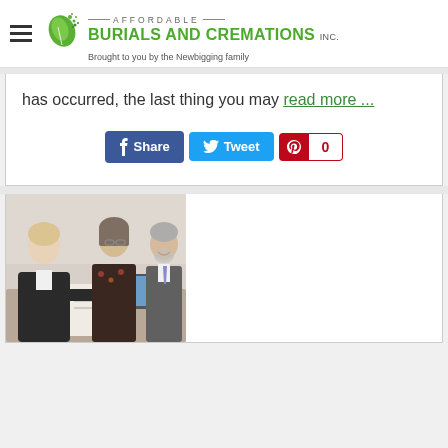Affordable Burials and Cremations Inc. Brought to you by the Newbigging family
has occurred, the last thing you may read more ...
[Figure (screenshot): Social share buttons: Facebook Share, Twitter Tweet, Pinterest with count 0]
[Figure (photo): Three people sitting at a table, one person signing a document, two others observing]